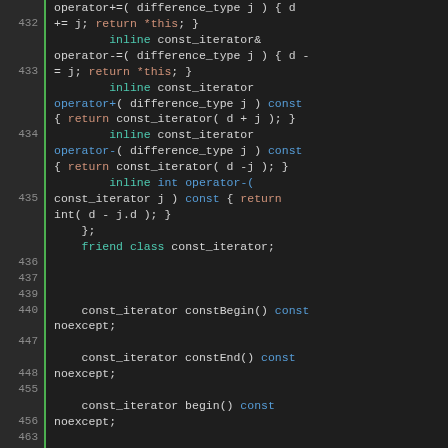[Figure (screenshot): Source code viewer showing C++ class definition with line numbers (432–489). Code includes const_iterator operator definitions, friend class declaration, and iterator begin/end methods. Syntax highlighting: green for keywords like inline/friend/class, orange for return/*this, blue for const/int/operator names, yellow-white for identifiers.]